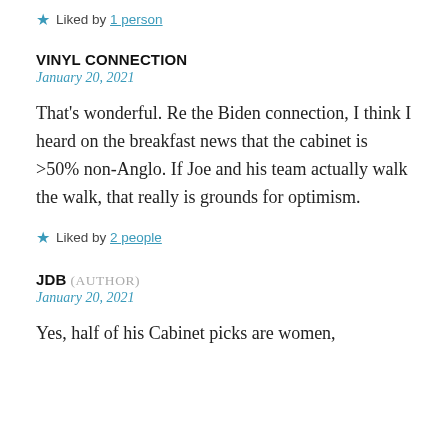★ Liked by 1 person
VINYL CONNECTION
January 20, 2021
That's wonderful. Re the Biden connection, I think I heard on the breakfast news that the cabinet is >50% non-Anglo. If Joe and his team actually walk the walk, that really is grounds for optimism.
★ Liked by 2 people
JDB (AUTHOR)
January 20, 2021
Yes, half of his Cabinet picks are women,